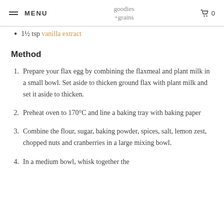MENU | goodies +grains | 0
1½ tsp vanilla extract
Method
1. Prepare your flax egg by combining the flaxmeal and plant milk in a small bowl. Set aside to thicken ground flax with plant milk and set it aside to thicken.
2. Preheat oven to 170°C and line a baking tray with baking paper
3. Combine the flour, sugar, baking powder, spices, salt, lemon zest, chopped nuts and cranberries in a large mixing bowl.
4. In a medium bowl, whisk together the